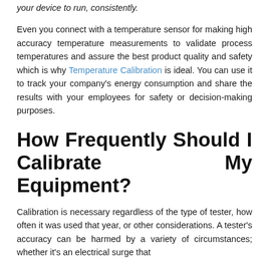your device to run, consistently.
Even you connect with a temperature sensor for making high accuracy temperature measurements to validate process temperatures and assure the best product quality and safety which is why Temperature Calibration is ideal. You can use it to track your company's energy consumption and share the results with your employees for safety or decision-making purposes.
How Frequently Should I Calibrate My Equipment?
Calibration is necessary regardless of the type of tester, how often it was used that year, or other considerations. A tester's accuracy can be harmed by a variety of circumstances; whether it's an electrical surge that